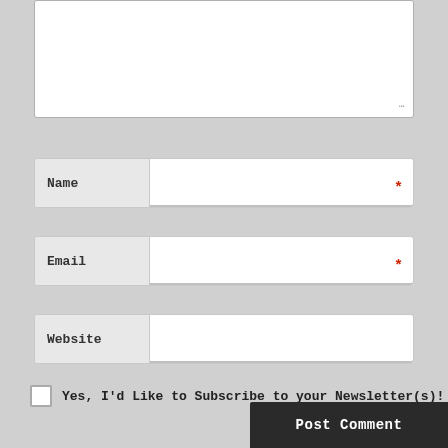[Figure (screenshot): Partially visible comment textarea input box at top of page]
Name *
Email *
Website
Yes, I'd Like to Subscribe to your Newsletter(s)!
Post Comment